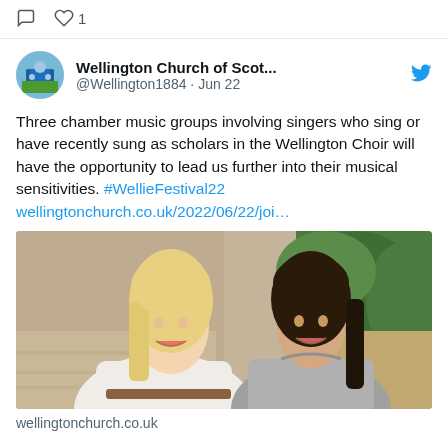comment icon, heart icon 1
Wellington Church of Scot... @Wellington1884 · Jun 22
Three chamber music groups involving singers who sing or have recently sung as scholars in the Wellington Choir will have the opportunity to lead us further into their musical sensitivities. #WellieFestival22 wellingtonchurch.co.uk/2022/06/22/joi…
[Figure (photo): Two young women smiling outdoors, one with blonde hair in a white top, one with dark hair in a grey top]
wellingtonchurch.co.uk